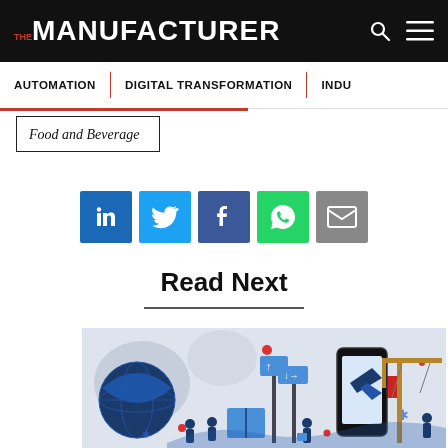THE MANUFACTURER
AUTOMATION | DIGITAL TRANSFORMATION | INDU...
Food and Beverage
[Figure (infographic): Social media share buttons: LinkedIn, Twitter, Facebook, WhatsApp, Email]
Read Next
[Figure (illustration): Illustration showing a globe, people, directional signs, a smartphone, and a crane — representing global digital industry themes]